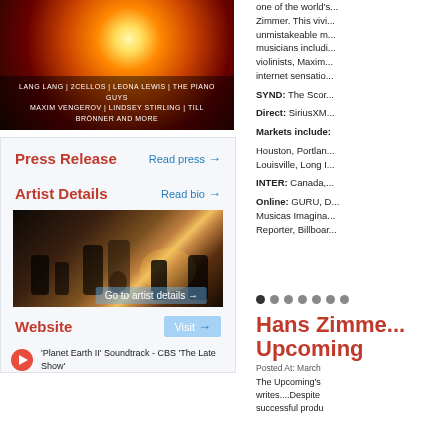[Figure (photo): Album cover with orange-red cosmic background. Artists listed: LANG LANG | 2CELLOS | LEONA LEWIS | THE PIANO GUYS | MAXIM VENGEROV | LINDSEY STIRLING | TILL BRÖNNER AND MORE]
one of the world's... Zimmer. This vivi... unmistakeable m... musicians includi... violinists, Maxim... internet sensatio...
Press Release
Read press →
Artist Details
Read bio →
[Figure (photo): Concert photo showing musicians on stage including guitarist, drummer, and other performers with warm stage lighting]
Website
Visit →
Go to artist details →
'Planet Earth II' Soundtrack - CBS 'The Late Show'
SYND: The Scor... Direct: SiriusXM... Markets include: Houston, Portlan... Louisville, Long I... INTER: Canada,... Online: GURU, D... Musicas Imagina... Reporter, Billboar...
[Figure (other): Navigation dots row, 7 dots with first one active/dark]
Hans Zimme... Upcoming
Posted At: March
The Upcoming's writes....Despite successful produ